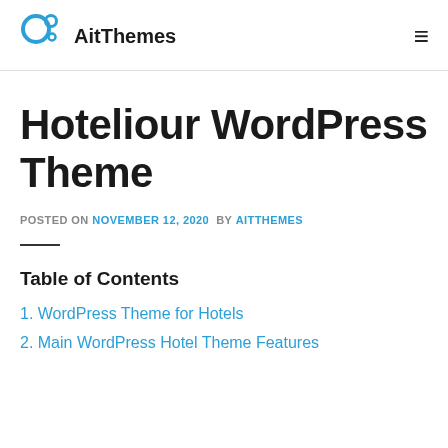AitThemes
Hoteliour WordPress Theme
POSTED ON NOVEMBER 12, 2020 BY AITTHEMES
Table of Contents
1. WordPress Theme for Hotels
2. Main WordPress Hotel Theme Features